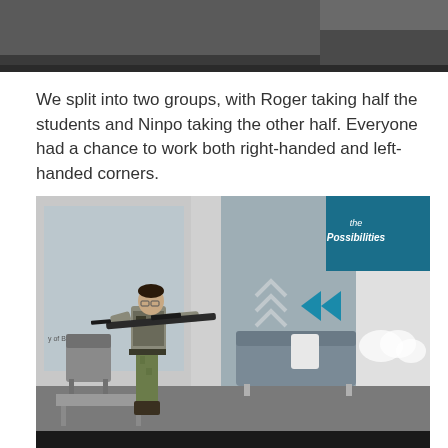[Figure (photo): Partial top photo visible at top of page, appears to be a cropped scene, dark tones]
We split into two groups, with Roger taking half the students and Ninpo taking the other half. Everyone had a chance to work both right-handed and left-handed corners.
[Figure (photo): A person in military/tactical gear aiming a rifle inside what appears to be an office or exhibition space with blue and gray decor, cloud motifs, and inspirational signage reading 'Possibilities' and 'Inspired']